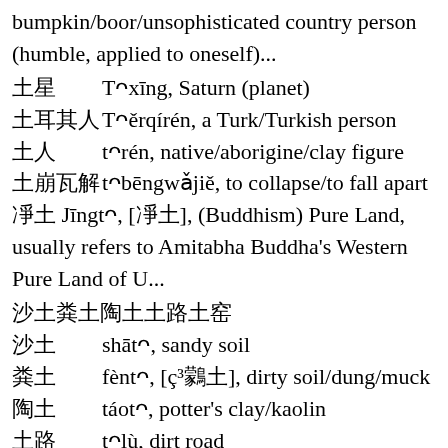bumpkin/boor/unsophisticated country person (humble, applied to oneself)...
土星  Tǔxīng, Saturn (planet)
土耳其人  Tǔěrqírén, a Turk/Turkish person
土人  tǔrén, native/aborigine/clay figure
土崩瓦解  tǔbēngwǎjiě, to collapse/to fall apart
净土  Jīngtǔ, [凈土], (Buddhism) Pure Land, usually refers to Amitabha Buddha's Western Pure Land of U...
沙土粪土陶土土路土窑
沙土  shātǔ, sandy soil
粪土  fèntǔ, [糞土], dirty soil/dung/muck
陶土  táotǔ, potter's clay/kaolin
土路  tǔlù, dirt road
土窑  tǔyáo, [土窯], earthen kiln/loess cave
故土
故土  gùtǔ, native country/one's homeland